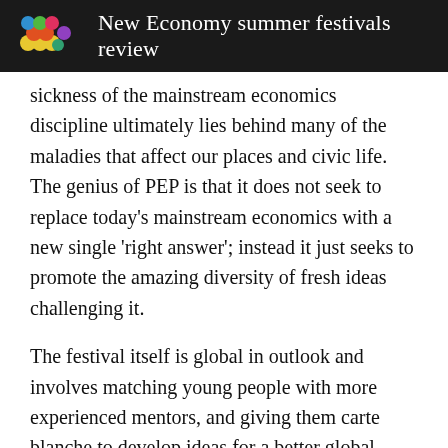New Economy summer festivals review
sickness of the mainstream economics discipline ultimately lies behind many of the maladies that affect our places and civic life.  The genius of PEP is that it does not seek to replace today's mainstream economics with a new single 'right answer'; instead it just seeks to promote the amazing diversity of fresh ideas challenging it.
The festival itself is global in outlook and involves matching young people with more experienced mentors, and giving them carte blanche to develop ideas for a better global future.  A large number of ideas have been submitted (things like: permaculture as a